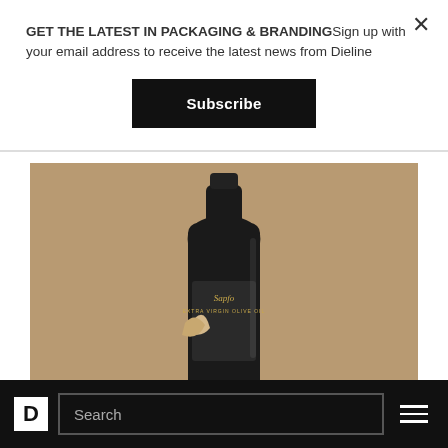GET THE LATEST IN PACKAGING & BRANDINGSign up with your email address to receive the latest news from Dieline
Subscribe
[Figure (photo): A dark matte black bottle of Sapfo extra virgin olive oil on a warm brown background, with a partially torn paper label revealing the bottle beneath.]
FOOD PACKAGING
D  Search  ≡